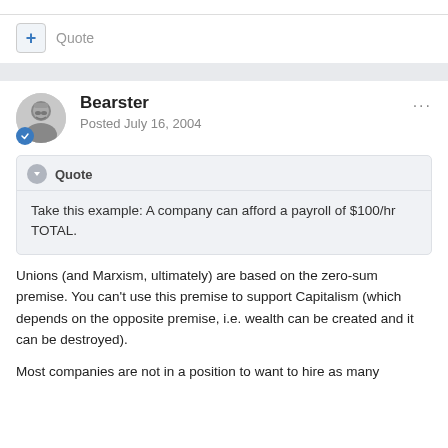Quote
Bearster
Posted July 16, 2004
Quote
Take this example: A company can afford a payroll of $100/hr TOTAL.
Unions (and Marxism, ultimately) are based on the zero-sum premise. You can't use this premise to support Capitalism (which depends on the opposite premise, i.e. wealth can be created and it can be destroyed).
Most companies are not in a position to want to hire as many